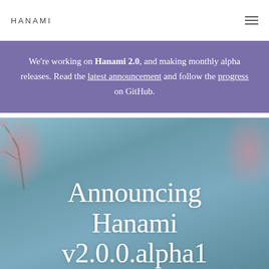HANAMI
We're working on Hanami 2.0, and making monthly alpha releases. Read the latest announcement and follow the progress on GitHub.
Announcing Hanami v2.0.0.alpha1